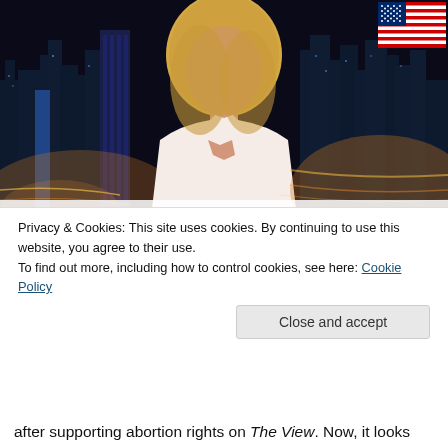[Figure (photo): A blonde woman in a white sleeveless dress sitting in front of a city skyline at night, with a US flag in the upper right corner. Appears to be a TV broadcast setting.]
Privacy & Cookies: This site uses cookies. By continuing to use this website, you agree to their use.
To find out more, including how to control cookies, see here: Cookie Policy
Close and accept
after supporting abortion rights on The View. Now, it looks